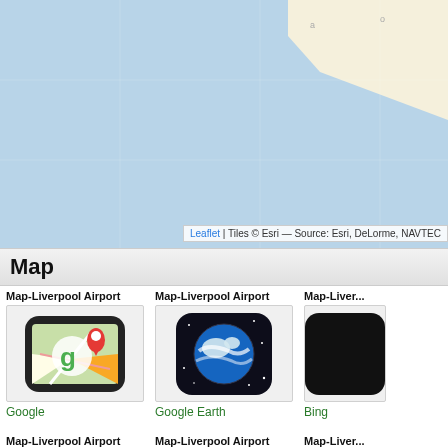[Figure (map): Leaflet map showing water (light blue) and land (beige/cream) area, partially cropped. Attribution: Leaflet | Tiles © Esri — Source: Esri, DeLorme, NAVTE...]
Map
Map-Liverpool Airport
[Figure (screenshot): Google Maps app icon - folded map with green G logo and red location pin]
Google
Map-Liverpool Airport
[Figure (screenshot): Google Earth app icon - dark background with blue/white globe]
Google Earth
Map-Liver...
[Figure (screenshot): Bing maps icon partially visible - dark app icon]
Bing
Map-Liverpool Airport
[Figure (map): Satellite/aerial map thumbnail of Liverpool Airport area]
Map-Liverpool Airport
[Figure (map): Street/road map thumbnail showing roads near Liverpool Airport]
Map-Liver...
[Figure (map): Another map thumbnail partially visible]